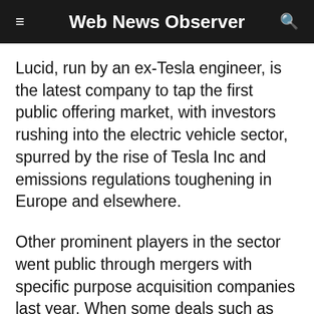Web News Observer
Lucid, run by an ex-Tesla engineer, is the latest company to tap the first public offering market, with investors rushing into the electric vehicle sector, spurred by the rise of Tesla Inc and emissions regulations toughening in Europe and elsewhere.
Other prominent players in the sector went public through mergers with specific purpose acquisition companies last year. When some deals such as Fisker have delivered well, others like Nikola have given up short-term gains.